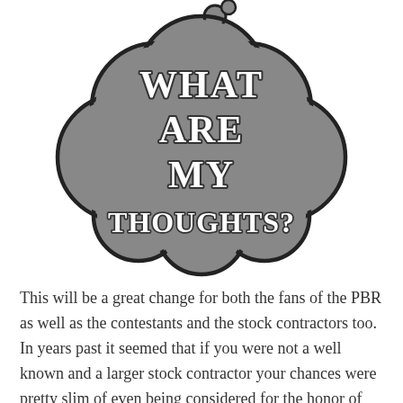[Figure (illustration): A thought bubble cloud shape in gray with black outline containing the text 'WHAT ARE MY THOUGHTS?' in bold white serif font with dark outline/shadow effect.]
This will be a great change for both the fans of the PBR as well as the contestants and the stock contractors too. In years past it seemed that if you were not a well known and a larger stock contractor your chances were pretty slim of even being considered for the honor of competing